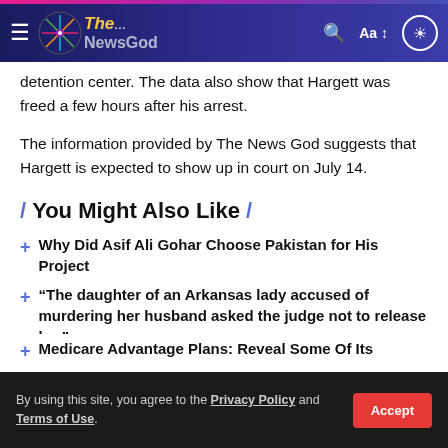The... NewsGod — navigation bar
detention center. The data also show that Hargett was freed a few hours after his arrest.
The information provided by The News God suggests that Hargett is expected to show up in court on July 14.
You Might Also Like
Why Did Asif Ali Gohar Choose Pakistan for His Project
“The daughter of an Arkansas lady accused of murdering her husband asked the judge not to release her”
Medicare Advantage Plans: Reveal Some Of Its
By using this site, you agree to the Privacy Policy and Terms of Use.